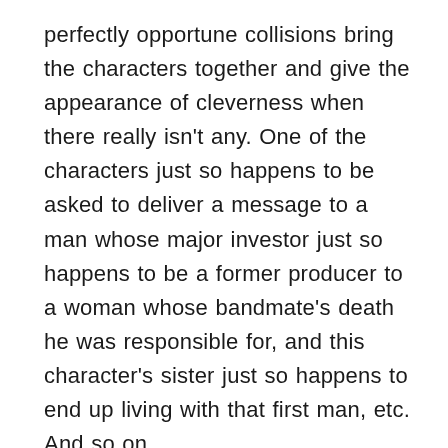perfectly opportune collisions bring the characters together and give the appearance of cleverness when there really isn't any. One of the characters just so happens to be asked to deliver a message to a man whose major investor just so happens to be a former producer to a woman whose bandmate's death he was responsible for, and this character's sister just so happens to end up living with that first man, etc. And so on.